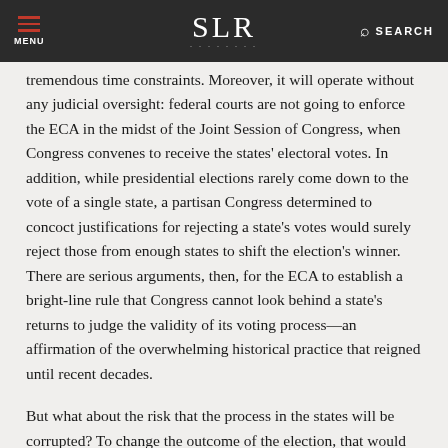MENU | SLR | SEARCH
tremendous time constraints. Moreover, it will operate without any judicial oversight: federal courts are not going to enforce the ECA in the midst of the Joint Session of Congress, when Congress convenes to receive the states' electoral votes. In addition, while presidential elections rarely come down to the vote of a single state, a partisan Congress determined to concoct justifications for rejecting a state's votes would surely reject those from enough states to shift the election's winner. There are serious arguments, then, for the ECA to establish a bright-line rule that Congress cannot look behind a state's returns to judge the validity of its voting process—an affirmation of the overwhelming historical practice that reigned until recent decades.
But what about the risk that the process in the states will be corrupted? To change the outcome of the election, that would likely have to happen in more than one state. Worth noting